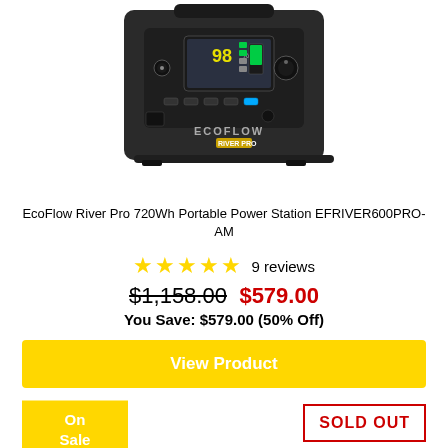[Figure (photo): EcoFlow River Pro portable power station product photo, dark gray unit with display screen showing battery level, ECOFLOW RIVER PRO branding on front]
EcoFlow River Pro 720Wh Portable Power Station EFRIVER600PRO-AM
★★★★★ 9 reviews
$1,158.00  $579.00
You Save: $579.00 (50% Off)
View Product
On Sale
SOLD OUT